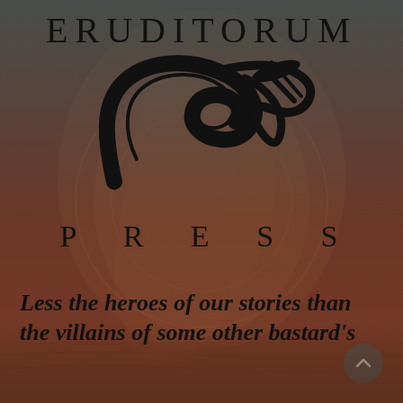[Figure (logo): Eruditorum Press logo page with stylized EP monogram, background art of figures, and tagline text]
ERUDITORUM
[Figure (logo): Stylized EP monogram in black cursive/script calligraphy]
P R E S S
Less the heroes of our stories than the villains of some other bastard's